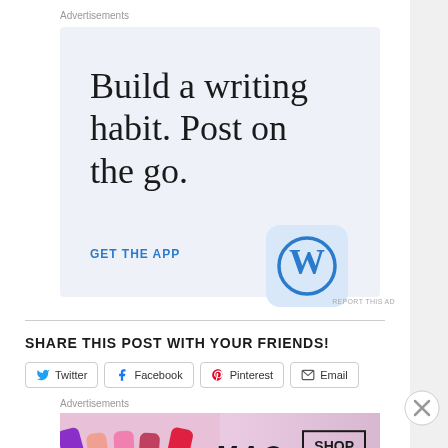Advertisements
[Figure (screenshot): WordPress app advertisement with text 'Build a writing habit. Post on the go.' and 'GET THE APP' call to action with WordPress logo icon]
REPORT THIS AD
SHARE THIS POST WITH YOUR FRIENDS!
Twitter  Facebook  Pinterest  Email
Advertisements
[Figure (screenshot): MAC Cosmetics advertisement showing lipsticks with MAC logo and SHOP NOW button]